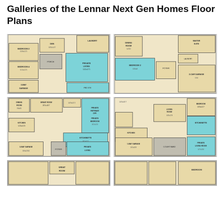Galleries of the Lennar Next Gen Homes Floor Plans
[Figure (engineering-diagram): Floor plan image 1: Lennar Next Gen home floor plan showing bedrooms, private living area (blue), garage, porch areas on beige background]
[Figure (engineering-diagram): Floor plan image 2: Lennar Next Gen home floor plan showing dining room, bedroom, garage (2-car), foyer with blue highlighted suite area]
[Figure (engineering-diagram): Floor plan image 3: Lennar Next Gen home floor plan showing dining room, great room, kitchen, private retreat/bedroom (blue), kitchenette, 3-bay garage]
[Figure (engineering-diagram): Floor plan image 4: Lennar Next Gen home floor plan showing living room, kitchen, bedroom, kitchenette (blue), private living room (blue), courtyard, 1-bay garage]
[Figure (engineering-diagram): Floor plan image 5 (partial): Lennar Next Gen home floor plan partial view at bottom]
[Figure (engineering-diagram): Floor plan image 6 (partial): Lennar Next Gen home floor plan partial view at bottom]